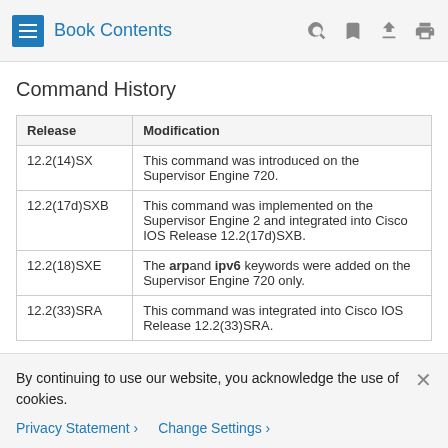Book Contents
Command History
| Release | Modification |
| --- | --- |
| 12.2(14)SX | This command was introduced on the Supervisor Engine 720. |
| 12.2(17d)SXB | This command was implemented on the Supervisor Engine 2 and integrated into Cisco IOS Release 12.2(17d)SXB. |
| 12.2(18)SXE | The arp and ipv6 keywords were added on the Supervisor Engine 720 only. |
| 12.2(33)SRA | This command was integrated into Cisco IOS Release 12.2(33)SRA. |
By continuing to use our website, you acknowledge the use of cookies.
Privacy Statement › Change Settings ›